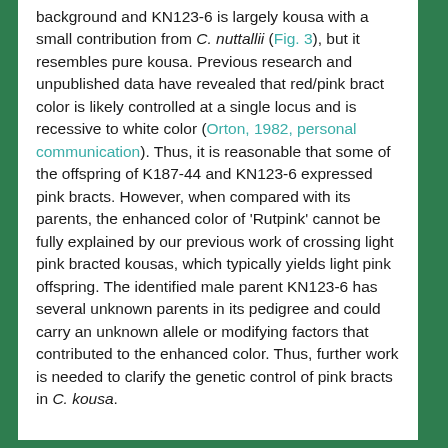background and KN123-6 is largely kousa with a small contribution from C. nuttallii (Fig. 3), but it resembles pure kousa. Previous research and unpublished data have revealed that red/pink bract color is likely controlled at a single locus and is recessive to white color (Orton, 1982, personal communication). Thus, it is reasonable that some of the offspring of K187-44 and KN123-6 expressed pink bracts. However, when compared with its parents, the enhanced color of 'Rutpink' cannot be fully explained by our previous work of crossing light pink bracted kousas, which typically yields light pink offspring. The identified male parent KN123-6 has several unknown parents in its pedigree and could carry an unknown allele or modifying factors that contributed to the enhanced color. Thus, further work is needed to clarify the genetic control of pink bracts in C. kousa.